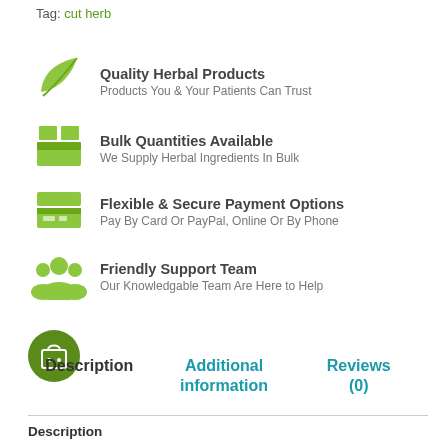Tag: cut herb
[Figure (illustration): Green leaf icon representing Quality Herbal Products]
Quality Herbal Products
Products You & Your Patients Can Trust
[Figure (illustration): Green box/crate icon representing Bulk Quantities Available]
Bulk Quantities Available
We Supply Herbal Ingredients In Bulk
[Figure (illustration): Green credit card icon representing Flexible & Secure Payment Options]
Flexible & Secure Payment Options
Pay By Card Or PayPal, Online Or By Phone
[Figure (illustration): Green people/team icon representing Friendly Support Team]
Friendly Support Team
Our Knowledgable Team Are Here to Help
[Figure (illustration): Green circular shop/basket badge icon]
Description | Additional information | Reviews (0)
Description